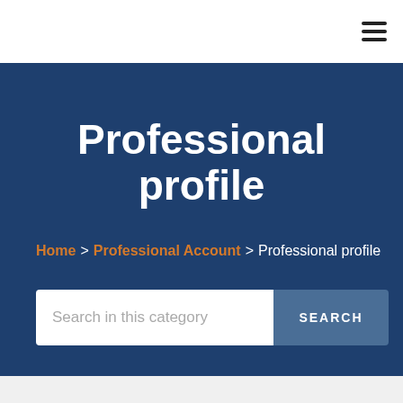[Figure (other): Hamburger menu icon (three horizontal lines) in top right corner of white navigation bar]
Professional profile
Home > Professional Account > Professional profile
Search in this category